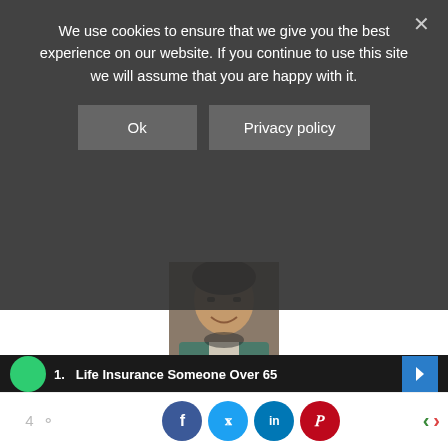We use cookies to ensure that we give you the best experience on our website. If you continue to use this site we will assume that you are happy with it.
Ok
Privacy policy
[Figure (photo): Profile photo of Kevin Mercadante, a man in a green/teal jacket]
Kevin Mercadante
Kevin Mercadante is professional personal finance blogger, and the owner of his own personal finance blog, OutOfYourRut.com. He has backgrounds in both accounting and the mortgage industry. He lives in Atlanta with his wife and two teenage kids and can be followed on
1.  Life Insurance Someone Over 65
4